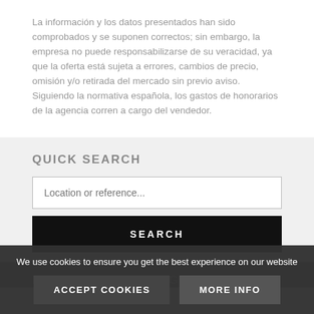La información y los datos presentados han sido comprobados y se suponen correctos; sin embargo, la empresa no puede responsabilizarse de su veracidad, ya que la oferta está sujeta a errores, cambios de precio, omisión y/o retirada del mercado sin previo aviso. Siguiendo la normativa española, los gastos de honorarios de la agencia corren a cargo del vendedor.
QUICK SEARCH
Location or reference...
SEARCH
LIVE VIDEO VIEWING
We use cookies to ensure you get the best experience on our website
ACCEPT COOKIES
MORE INFO